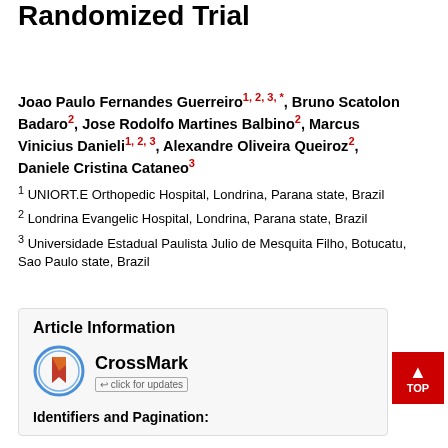Randomized Trial
Joao Paulo Fernandes Guerreiro1, 2, 3, *, Bruno Scatolon Badaro2, Jose Rodolfo Martines Balbino2, Marcus Vinicius Danieli1, 2, 3, Alexandre Oliveira Queiroz2, Daniele Cristina Cataneo3
1 UNIORT.E Orthopedic Hospital, Londrina, Parana state, Brazil
2 Londrina Evangelic Hospital, Londrina, Parana state, Brazil
3 Universidade Estadual Paulista Julio de Mesquita Filho, Botucatu, Sao Paulo state, Brazil
Article Information
[Figure (logo): CrossMark logo with 'click for updates' text]
Identifiers and Pagination: